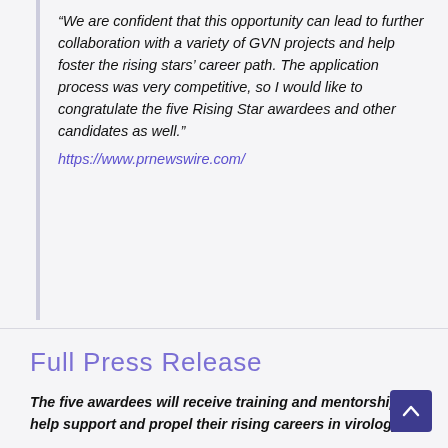“We are confident that this opportunity can lead to further collaboration with a variety of GVN projects and help foster the rising stars’ career path. The application process was very competitive, so I would like to congratulate the five Rising Star awardees and other candidates as well.” https://www.prnewswire.com/
Full Press Release
The five awardees will receive training and mentorship to help support and propel their rising careers in virology.